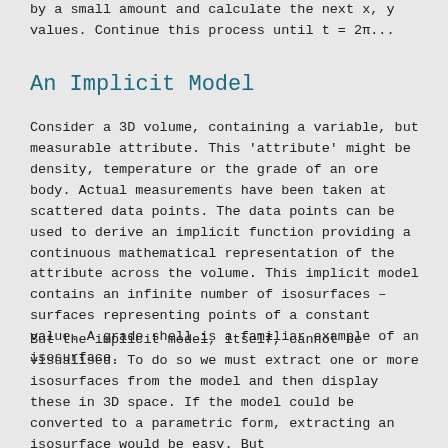by a small amount and calculate the next x, y values.  Continue this process until t = 2π...
An Implicit Model
Consider a 3D volume, containing a variable, but measurable attribute.  This 'attribute' might be density, temperature or the grade of an ore body.  Actual measurements have been taken at scattered data points.  The data points can be used to derive an implicit function providing a continuous mathematical representation of the attribute across the volume.  This implicit model contains an infinite number of isosurfaces – surfaces representing points of a constant value. A grade shell is a familiar example of an isosurface.
But the implicit model, itself, cannot be visualised.  To do so we must extract one or more isosurfaces from the model and then display these in 3D space.  If the model could be converted to a parametric form, extracting an isosurface would be easy.  But